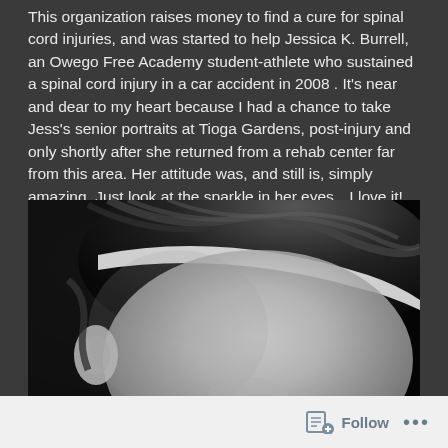This organization raises money to find a cure for spinal cord injuries, and was started to help Jessica K. Burrell, an Owego Free Academy student-athlete who sustained a spinal cord injury in a car accident in 2008 . It's near and dear to my heart because I had a chance to take Jess's senior portraits at Tioga Gardens, post-injury and only shortly after she returned from a rehab center far from this area. Her attitude was, and still is, simply amazing. Just look at the sparkle in her eyes…I love it!
[Figure (photo): Black and white close-up photograph of a young woman wearing a white headband, with her hair swept back, showing her forehead, ear, and the top of her face in soft focus.]
Follow ...